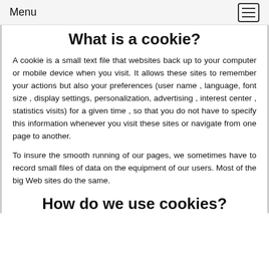Menu
What is a cookie?
A cookie is a small text file that websites back up to your computer or mobile device when you visit. It allows these sites to remember your actions but also your preferences (user name , language, font size , display settings, personalization, advertising , interest center , statistics visits) for a given time , so that you do not have to specify this information whenever you visit these sites or navigate from one page to another.
To insure the smooth running of our pages, we sometimes have to record small files of data on the equipment of our users. Most of the big Web sites do the same.
How do we use cookies?